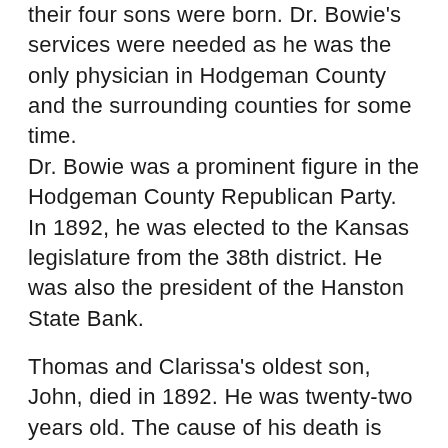their four sons were born. Dr. Bowie's services were needed as he was the only physician in Hodgeman County and the surrounding counties for some time.
Dr. Bowie was a prominent figure in the Hodgeman County Republican Party. In 1892, he was elected to the Kansas legislature from the 38th district. He was also the president of the Hanston State Bank.
Thomas and Clarissa's oldest son, John, died in 1892. He was twenty-two years old. The cause of his death is unknown. Thomas died on December 28, 1919, and was buried in Browns Grove Cemetery. Lois passed away in 1937 and is buried